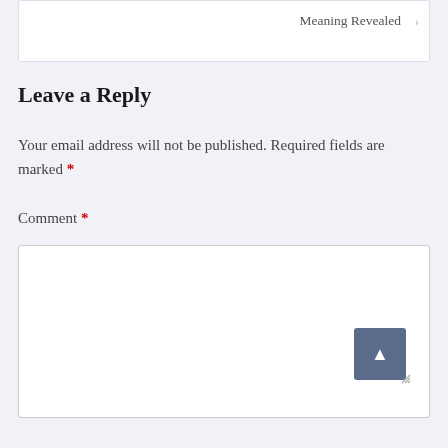Meaning Revealed
Leave a Reply
Your email address will not be published. Required fields are marked *
Comment *